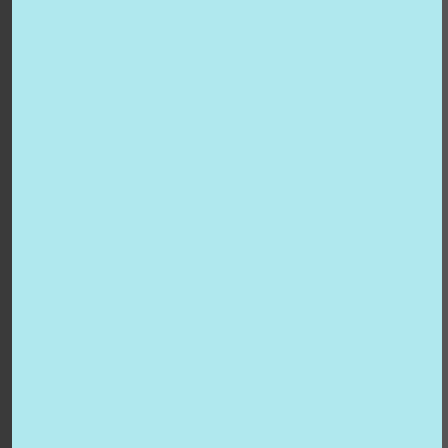|  |  |  |  |  |  |
| --- | --- | --- | --- | --- | --- |
| 1194 | 809 | 25226 | 983 | 0 | 98 |
| 1195 | 809 | 25716 | 437 | 0 | 43 |
| 1196 | 809 | 26482 | 19 | 0 | 19 |
| 1197 | 809 | 70010 | 1300 | 0 | 13 |
| 1198 | 809 | 70016 | 270 | 0 | 27 |
| 1199 | 809 | 70018 | 270 | 0 | 27 |
| 1200 | 809 | 70020 | 2302 | 0 | 23 |
| 1201 | 809 | 70021 | 644 | 0 | 64 |
| 1202 | 809 | 70023 | 885 | 0 | 88 |
| 1203 | 809 | 70025 | 885 | 0 | 88 |
| 1204 | 809 | 70029 | 710 | 0 | 71 |
| 1205 | 809 | 70030 | 30 | 0 | 30 |
| 1206 | 809 | 70031 | 143 | 0 | 14 |
| 1207 | 809 | 70039 | 142 | 0 | 14 |
| 1208 | 809 | 70042 | 270 | 0 | 27 |
| 1209 | 809 | 70070 | 75 | 0 | 75 |
| 1210 | 809 | 70072 | 1110 | 0 | 111 |